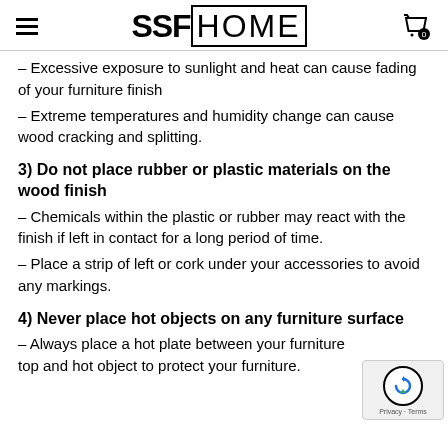SSF HOME
– Excessive exposure to sunlight and heat can cause fading of your furniture finish
– Extreme temperatures and humidity change can cause wood cracking and splitting.
3) Do not place rubber or plastic materials on the wood finish
– Chemicals within the plastic or rubber may react with the finish if left in contact for a long period of time.
– Place a strip of left or cork under your accessories to avoid any markings.
4) Never place hot objects on any furniture surface
– Always place a hot plate between your furniture top and hot object to protect your furniture.